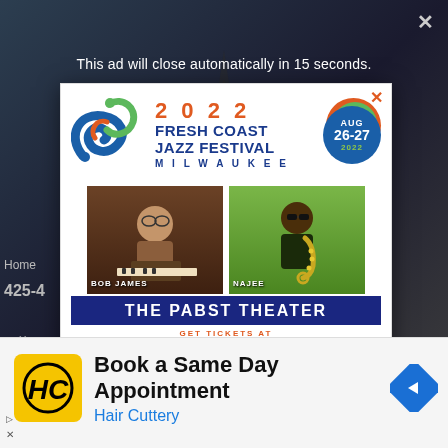This ad will close automatically in 15 seconds.
[Figure (screenshot): Fresh Coast Jazz Festival 2022 advertisement popup. Shows festival logo with swirl design, 2022 text in orange, Fresh Coast Jazz Festival in dark blue, Milwaukee in dark blue, AUG 26-27 2022 badge, photos of performers Bob James and Najee, The Pabst Theater banner in dark blue/white, and ticket URL text in orange.]
Book a Same Day Appointment
Hair Cuttery